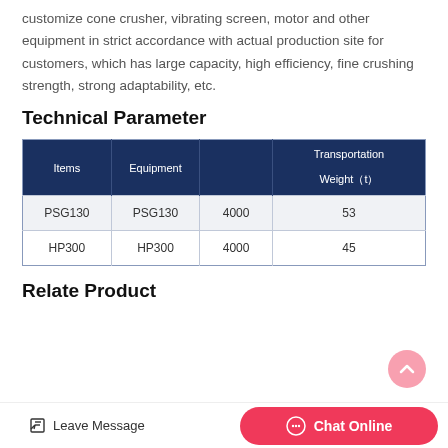customize cone crusher, vibrating screen, motor and other equipment in strict accordance with actual production site for customers, which has large capacity, high efficiency, fine crushing strength, strong adaptability, etc.
Technical Parameter
| Items | Equipment |  | Transportation Weight（t） |
| --- | --- | --- | --- |
| PSG130 | PSG130 | 4000 | 53 |
| HP300 | HP300 | 4000 | 45 |
Relate Product
Leave Message
Chat Online